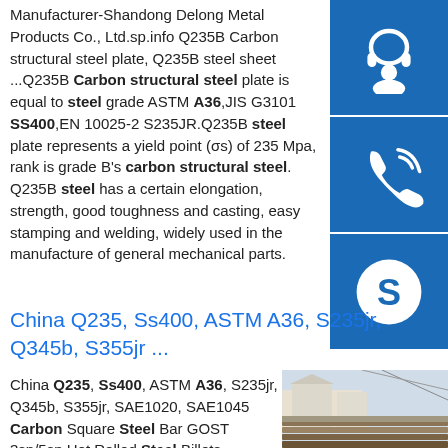Manufacturer-Shandong Delong Metal Products Co., Ltd.sp.info Q235B Carbon structural steel plate, Q235B steel sheet ...Q235B Carbon structural steel plate is equal to steel grade ASTM A36,JIS G3101 SS400,EN 10025-2 S235JR.Q235B steel plate represents a yield point (σs) of 235 Mpa, rank is grade B's carbon structural steel. Q235B steel has a certain elongation, strength, good toughness and casting, easy stamping and welding, widely used in the manufacture of general mechanical parts.
[Figure (other): Three blue sidebar buttons with white icons: headset/support icon, phone/call icon, Skype icon]
China Q235, Ss400, ASTM A36, S235jr, Q345b, S355jr ...
China Q235, Ss400, ASTM A36, S235jr, Q345b, S355jr, SAE1020, SAE1045 Carbon Square Steel Bar GOST 3sp/5sp Hot Rolled Steel Billets...
[Figure (photo): Photo of stacked steel plates/billets outdoors with buildings in background]